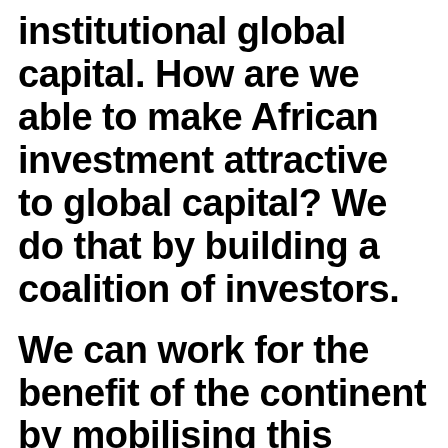institutional global capital. How are we able to make African investment attractive to global capital? We do that by building a coalition of investors.
We can work for the benefit of the continent by mobilising this capital from all across the globe to come to Africa”